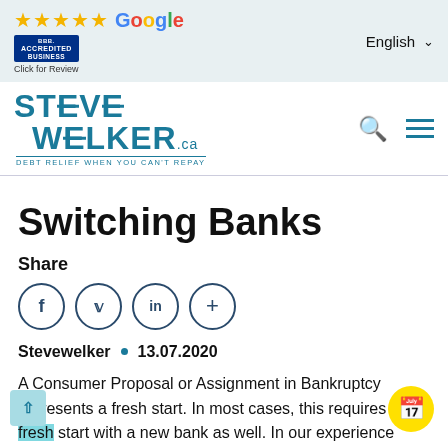★★★★★ Google | BBB Accredited Business - Click for Review | English ▾
[Figure (logo): Steve Welker logo with tagline DEBT RELIEF WHEN YOU CAN'T REPAY, search icon, and hamburger menu]
Switching Banks
Share
[Figure (infographic): Four social sharing buttons: Facebook (f), Twitter (bird), LinkedIn (in), and more (+)]
Stevewelker • 13.07.2020
A Consumer Proposal or Assignment in Bankruptcy represents a fresh start. In most cases, this requires a fresh start with a new bank as well. In our experience have found that the administrative pain is well worth the